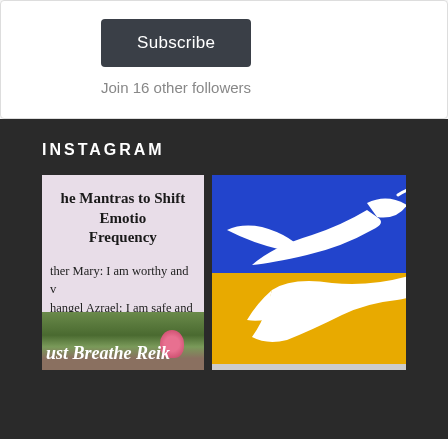[Figure (screenshot): Subscribe button widget with dark rounded rectangle button labeled 'Subscribe']
Join 16 other followers
INSTAGRAM
[Figure (screenshot): Instagram post: 'he Mantras to Shift Emoti... Frequency' with text about Mother Mary and Archangel Azrael, bottom shows lotus pond photo with 'ust Breathe Reik' text overlay]
[Figure (illustration): Blue and yellow Ukrainian flag colors with white dove carrying olive branch graphic]